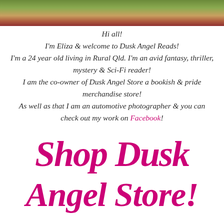[Figure (photo): Outdoor photo strip showing a person in a grassy/natural setting with warm tones]
Hi all!
I'm Eliza & welcome to Dusk Angel Reads!
I'm a 24 year old living in Rural Qld. I'm an avid fantasy, thriller, mystery & Sci-Fi reader!
I am the co-owner of Dusk Angel Store a bookish & pride merchandise store!
As well as that I am an automotive photographer & you can check out my work on Facebook!
[Figure (illustration): Decorative cursive script logo in magenta/hot pink reading 'Shop Dusk Angel Store!']